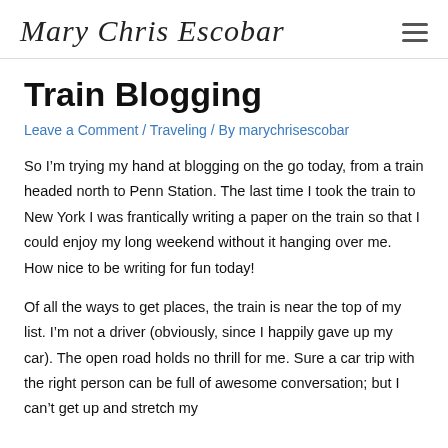Mary Chris Escobar
Train Blogging
Leave a Comment / Traveling / By marychrisescobar
So I’m trying my hand at blogging on the go today, from a train headed north to Penn Station. The last time I took the train to New York I was frantically writing a paper on the train so that I could enjoy my long weekend without it hanging over me. How nice to be writing for fun today!
Of all the ways to get places, the train is near the top of my list. I’m not a driver (obviously, since I happily gave up my car). The open road holds no thrill for me. Sure a car trip with the right person can be full of awesome conversation; but I can’t get up and stretch my